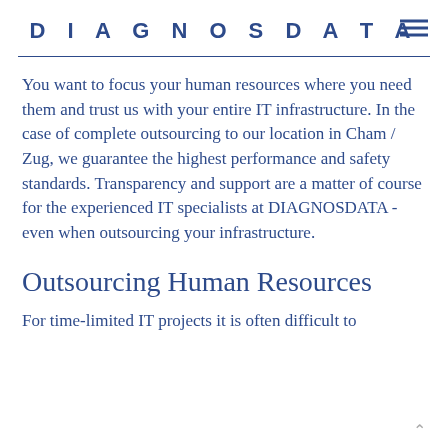DIAGNOSDATA
You want to focus your human resources where you need them and trust us with your entire IT infrastructure. In the case of complete outsourcing to our location in Cham / Zug, we guarantee the highest performance and safety standards. Transparency and support are a matter of course for the experienced IT specialists at DIAGNOSDATA - even when outsourcing your infrastructure.
Outsourcing Human Resources
For time-limited IT projects it is often difficult to